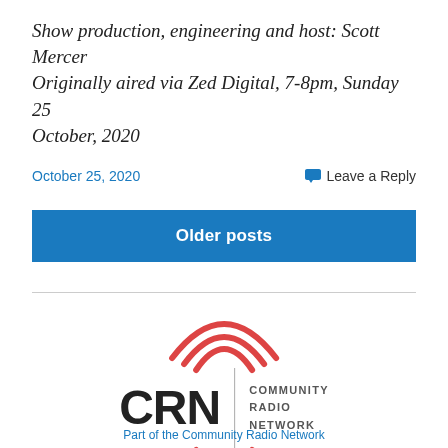Show production, engineering and host: Scott Mercer Originally aired via Zed Digital, 7-8pm, Sunday 25 October, 2020
October 25, 2020
Leave a Reply
Older posts
[Figure (logo): CRN Community Radio Network logo with red signal wave arcs above and below the CRN text, vertical divider line, and 'COMMUNITY RADIO NETWORK' text to the right]
Part of the Community Radio Network